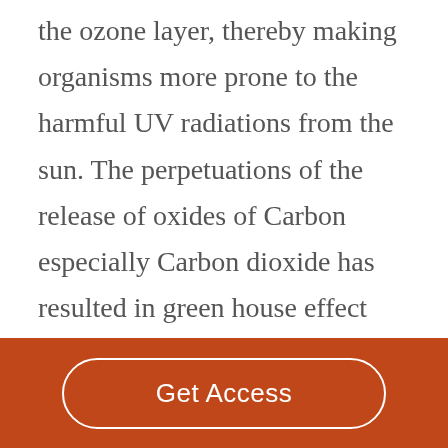the ozone layer, thereby making organisms more prone to the harmful UV radiations from the sun. The perpetuations of the release of oxides of Carbon especially Carbon dioxide has resulted in green house effect which has caused Global warming thereby increasing the average temperature of the earth. These can have severe repercussions of that of posing a threat to submerge small islands, drastically increasing the
Get Access